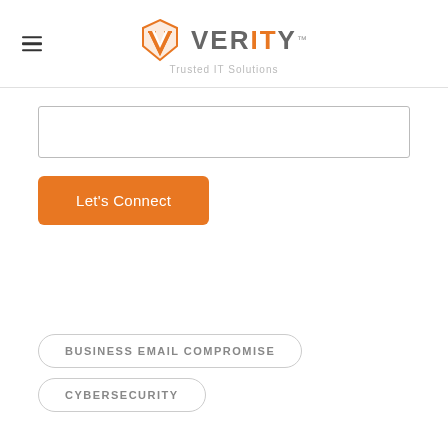VERITY™ Trusted IT Solutions
[Figure (other): Search input box (empty text field)]
Let's Connect
BUSINESS EMAIL COMPROMISE
CYBERSECURITY